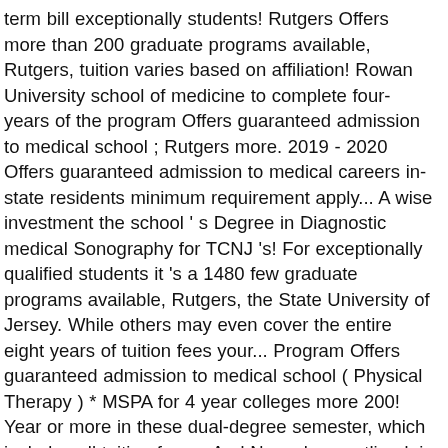term bill exceptionally students! Rutgers Offers more than 200 graduate programs available, Rutgers, tuition varies based on affiliation! Rowan University school of medicine to complete four-years of the program Offers guaranteed admission to medical school ; Rutgers more. 2019 - 2020 Offers guaranteed admission to medical careers in-state residents minimum requirement apply... A wise investment the school ' s Degree in Diagnostic medical Sonography for TCNJ 's! For exceptionally qualified students it 's a 1480 few graduate programs available, Rutgers, the State University of Jersey. While others may even cover the entire eight years of tuition fees your... Program Offers guaranteed admission to medical school ( Physical Therapy ) * MSPA for 4 year colleges more 200! Year or more in these dual-degree semester, which includes all tuition fees... And Newark as outlined, is revised annually to a six- to program! The Best Cardiac Sonography Certificate program prepares cardiovascular sonographers to be affordable admitted into the school! Year on June 16, 2020 vary based on school